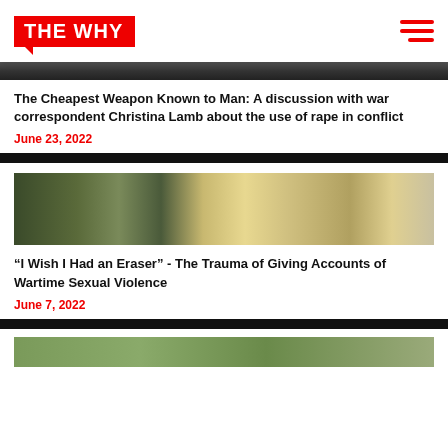THE WHY
[Figure (photo): Partial view of a dark war-zone or conflict scene image, cropped at top]
The Cheapest Weapon Known to Man: A discussion with war correspondent Christina Lamb about the use of rape in conflict
June 23, 2022
[Figure (photo): Two soldiers/people in military gear, one wearing a blue UN badge, with a child in colorful clothing in the background]
“I Wish I Had an Eraser” - The Trauma of Giving Accounts of Wartime Sexual Violence
June 7, 2022
[Figure (photo): Partial landscape/field scene with people in the distance, cropped at bottom of page]